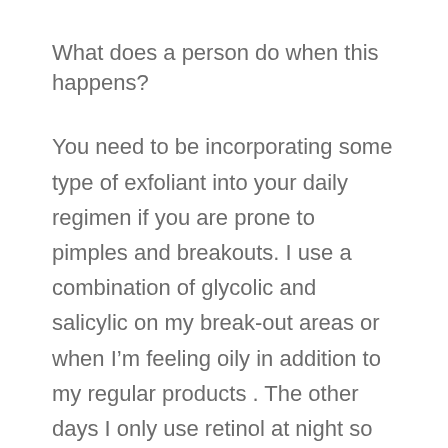What does a person do when this happens?
You need to be incorporating some type of exfoliant into your daily regimen if you are prone to pimples and breakouts. I use a combination of glycolic and salicylic on my break-out areas or when I’m feeling oily in addition to my regular products . The other days I only use retinol at night so that I’m CONTINUALLY encouraging cell turnover and the sloughing of dead skin. If you are breaking out your pores are clogged. It’s extremely possible you need a series of professional treatments with a higher concentration of bacteria fighting ingredients. Once the problem is